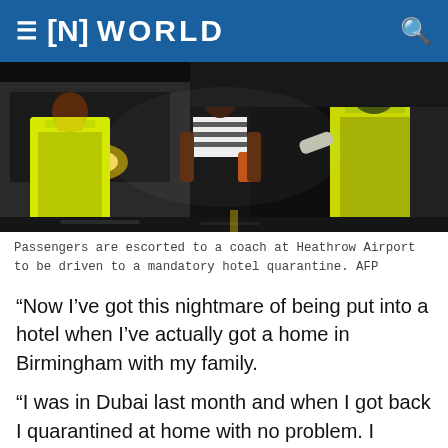≡ [N] WORLD
[Figure (photo): Passengers are escorted to a coach at Heathrow Airport, with people in high-visibility yellow vests visible in the foreground and background, and a woman in a striped top walking between them at night.]
Passengers are escorted to a coach at Heathrow Airport to be driven to a mandatory hotel quarantine. AFP
“Now I’ve got this nightmare of being put into a hotel when I’ve actually got a home in Birmingham with my family.
“I was in Dubai last month and when I got back I quarantined at home with no problem. I should be allowed to do that again.”